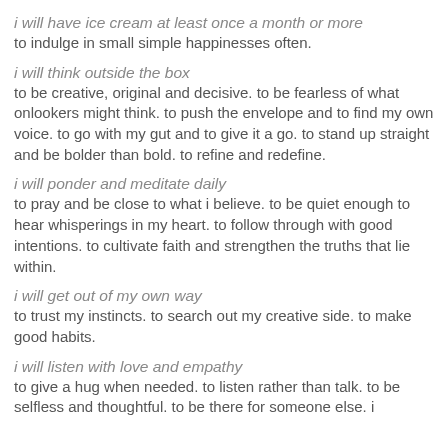i will have ice cream at least once a month or more
to indulge in small simple happinesses often.
i will think outside the box
to be creative, original and decisive. to be fearless of what onlookers might think. to push the envelope and to find my own voice. to go with my gut and to give it a go. to stand up straight and be bolder than bold. to refine and redefine.
i will ponder and meditate daily
to pray and be close to what i believe. to be quiet enough to hear whisperings in my heart. to follow through with good intentions. to cultivate faith and strengthen the truths that lie within.
i will get out of my own way
to trust my instincts. to search out my creative side. to make good habits.
i will listen with love and empathy
to give a hug when needed. to listen rather than talk. to be selfless and thoughtful. to be there for someone else. i